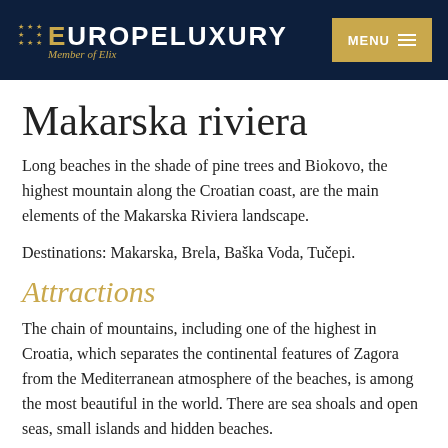EUROPELUXURY Member of Elix
Makarska riviera
Long beaches in the shade of pine trees and Biokovo, the highest mountain along the Croatian coast, are the main elements of the Makarska Riviera landscape.
Destinations: Makarska, Brela, Baška Voda, Tučepi.
Attractions
The chain of mountains, including one of the highest in Croatia, which separates the continental features of Zagora from the Mediterranean atmosphere of the beaches, is among the most beautiful in the world. There are sea shoals and open seas, small islands and hidden beaches.